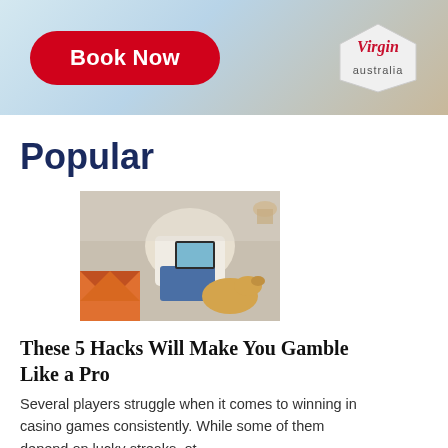[Figure (photo): Virgin Australia advertisement banner with a red 'Book Now' button on the left and Virgin Australia logo on the right, with a light background showing a beach/travel scene.]
Popular
[Figure (photo): Overhead view of a person sitting on a couch using a tablet, with a dog nearby and colorful cushions visible.]
These 5 Hacks Will Make You Gamble Like a Pro
Several players struggle when it comes to winning in casino games consistently. While some of them depend on lucky streaks, ot...
[Figure (photo): Close-up of hands typing on a keyboard with a cup visible.]